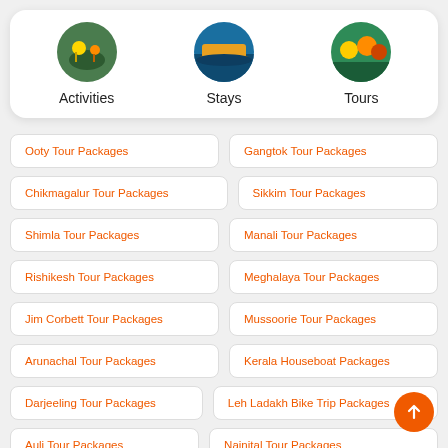[Figure (screenshot): App navigation card with three circular icon buttons: Activities, Stays, Tours]
Ooty Tour Packages
Gangtok Tour Packages
Chikmagalur Tour Packages
Sikkim Tour Packages
Shimla Tour Packages
Manali Tour Packages
Rishikesh Tour Packages
Meghalaya Tour Packages
Jim Corbett Tour Packages
Mussoorie Tour Packages
Arunachal Tour Packages
Kerala Houseboat Packages
Darjeeling Tour Packages
Leh Ladakh Bike Trip Packages
Auli Tour Packages
Nainital Tour Packages
Kedarnath Tour Packages
CharDham Yatra Packages